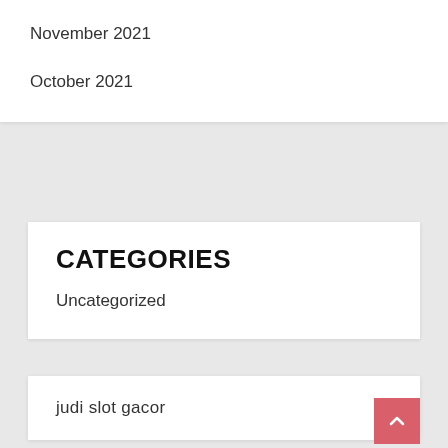November 2021
October 2021
CATEGORIES
Uncategorized
judi slot gacor